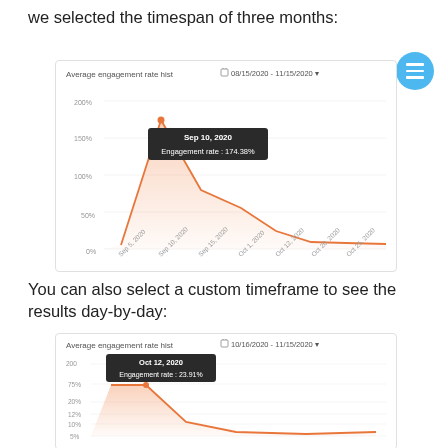we selected the timespan of three months:
[Figure (line-chart): Line chart showing average engagement rate from 08/15/2020 - 11/15/2020 with tooltip: Sep 10, 2020 Engagement rate: 174.38%]
You can also select a custom timeframe to see the results day-by-day:
[Figure (area-chart): Area/line chart showing average engagement rate from 10/16/2020 - 11/15/2020 with tooltip: Oct 12, 2020 Engagement rate: 23.91%]